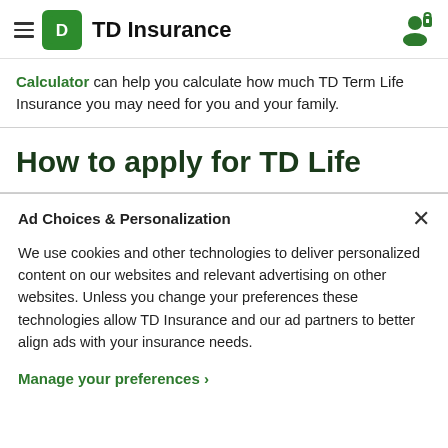TD Insurance
Calculator can help you calculate how much TD Term Life Insurance you may need for you and your family.
How to apply for TD Life
Ad Choices & Personalization
We use cookies and other technologies to deliver personalized content on our websites and relevant advertising on other websites. Unless you change your preferences these technologies allow TD Insurance and our ad partners to better align ads with your insurance needs.
Manage your preferences ›